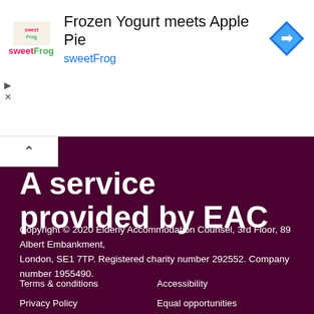[Figure (other): Advertisement banner for sweetFrog frozen yogurt: logo on left, title 'Frozen Yogurt meets Apple Pie', subtitle 'sweetFrog' in blue, navigation arrow icon on right]
A service provided by EAC
Copyright © 2020 Elderly Accommodation Counsel, 3rd Floor, 89 Albert Embankment,
London, SE1 7TP. Registered charity number 292552. Company number 1955490.
Terms & conditions
Accessibility
Privacy Policy
Equal opportunities
Cookies Policy
Sitemap